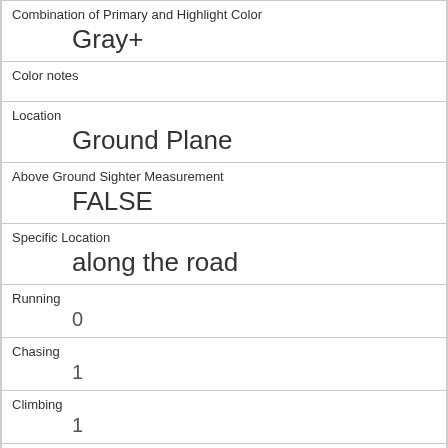| Combination of Primary and Highlight Color | Gray+ |
| Color notes |  |
| Location | Ground Plane |
| Above Ground Sighter Measurement | FALSE |
| Specific Location | along the road |
| Running | 0 |
| Chasing | 1 |
| Climbing | 1 |
| Eating | 0 |
| Foraging | 0 |